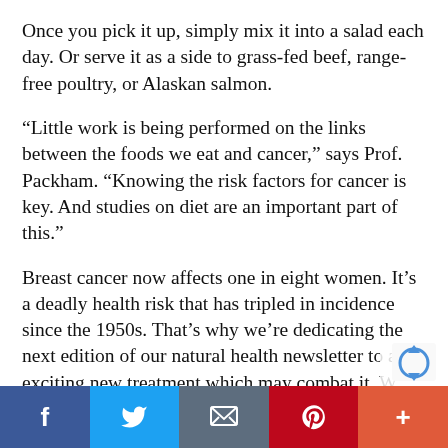Once you pick it up, simply mix it into a salad each day. Or serve it as a side to grass-fed beef, range-free poultry, or Alaskan salmon.
“Little work is being performed on the links between the foods we eat and cancer,” says Prof. Packham. “Knowing the risk factors for cancer is key. And studies on diet are an important part of this.”
Breast cancer now affects one in eight women. It’s a deadly health risk that has tripled in incidence since the 1950s. That’s why we’re dedicating the next edition of our natural health newsletter to an exciting new treatment which may combat it. W’
Facebook | Twitter | Email | Pinterest | +